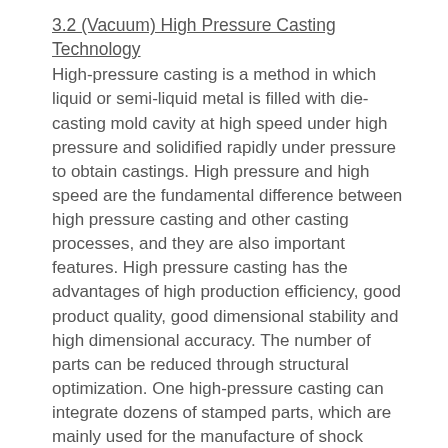3.2 (Vacuum) High Pressure Casting Technology
High-pressure casting is a method in which liquid or semi-liquid metal is filled with die-casting mold cavity at high speed under high pressure and solidified rapidly under pressure to obtain castings. High pressure and high speed are the fundamental difference between high pressure casting and other casting processes, and they are also important features. High pressure casting has the advantages of high production efficiency, good product quality, good dimensional stability and high dimensional accuracy. The number of parts can be reduced through structural optimization. One high-pressure casting can integrate dozens of stamped parts, which are mainly used for the manufacture of shock